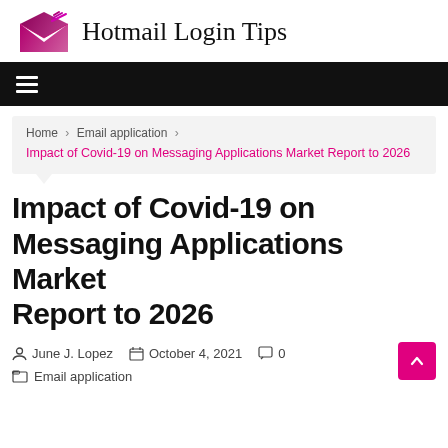Hotmail Login Tips
Home > Email application > Impact of Covid-19 on Messaging Applications Market Report to 2026
Impact of Covid-19 on Messaging Applications Market Report to 2026
June J. Lopez   October 4, 2021   0
Email application